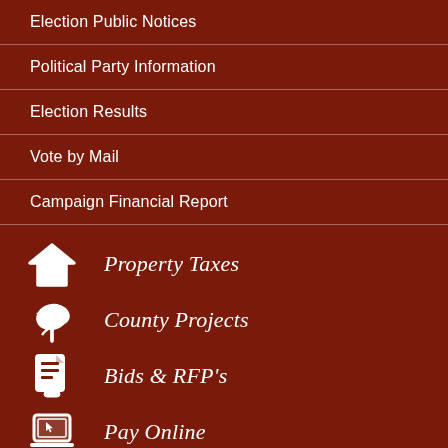Election Public Notices
Political Party Information
Election Results
Vote by Mail
Campaign Financial Report
Property Taxes
County Projects
Bids & RFP's
Pay Online
Notify Me®